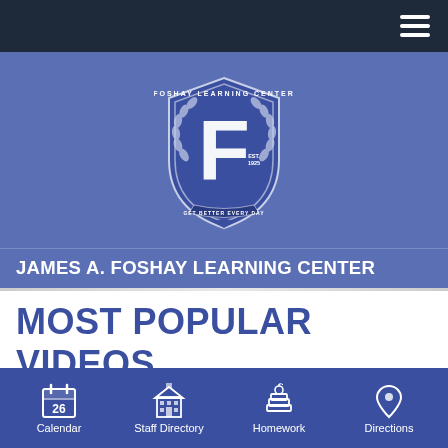[Figure (logo): Foshay Learning Center shield logo with large F, laurel wreath, EST. 1925, GET BETTER EVERY DAY motto, blue and white colors]
JAMES A. FOSHAY LEARNING CENTER
MOST POPULAR VIDEOS
Calendar | Staff Directory | Homework | Directions